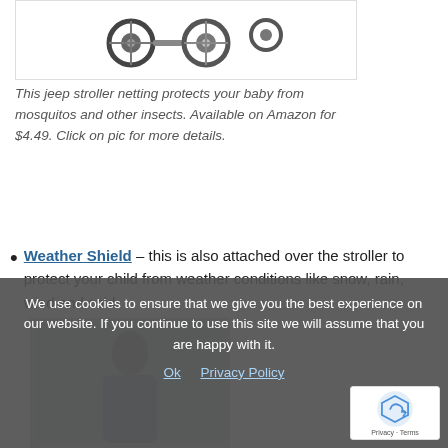[Figure (photo): Stroller wheels and parts shown against white background inside a bordered box]
This jeep stroller netting protects your baby from mosquitos and other insects. Available on Amazon for $4.49. Click on pic for more details.
Weather Shield – this is also attached over the stroller to protect your child from weather conditions like snow, rain, wind and cold.
[Figure (photo): Partially visible photo of a woman in a light jacket, behind cookie consent overlay]
We use cookies to ensure that we give you the best experience on our website. If you continue to use this site we will assume that you are happy with it.